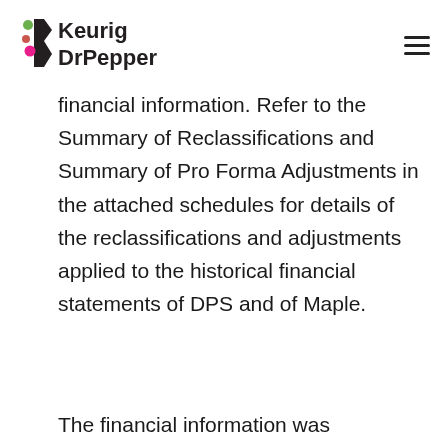Keurig Dr Pepper
financial information. Refer to the Summary of Reclassifications and Summary of Pro Forma Adjustments in the attached schedules for details of the reclassifications and adjustments applied to the historical financial statements of DPS and of Maple.
The financial information was